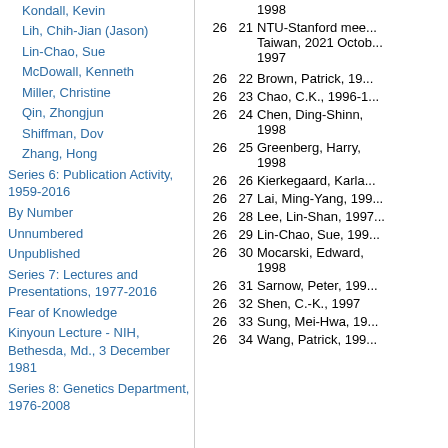| Name/Topic | Box | Folder | Description |
| --- | --- | --- | --- |
| Kondall, Kevin |  |  | 1998 |
| Lih, Chih-Jian (Jason) | 26 | 21 | NTU-Stanford mee... Taiwan, 2021 Octob... 1997 |
| Lin-Chao, Sue |  |  |  |
| McDowall, Kenneth | 26 | 22 | Brown, Patrick, 19... |
| Miller, Christine | 26 | 23 | Chao, C.K., 1996-1... |
| Qin, Zhongjun | 26 | 24 | Chen, Ding-Shinn,... 1998 |
| Shiffman, Dov | 26 | 25 | Greenberg, Harry,... 1998 |
| Zhang, Hong | 26 | 26 | Kierkegaard, Karla... |
| Series 6: Publication Activity, 1959-2016 | 26 | 27 | Lai, Ming-Yang, 199... |
| By Number | 26 | 28 | Lee, Lin-Shan, 1997... |
| Unnumbered | 26 | 29 | Lin-Chao, Sue, 199... |
| Unpublished | 26 | 30 | Mocarski, Edward,... 1998 |
| Series 7: Lectures and Presentations, 1977-2016 | 26 | 31 | Sarnow, Peter, 199... |
| Fear of Knowledge | 26 | 32 | Shen, C.-K., 1997 |
| Kinyoun Lecture - NIH, Bethesda, Md., 3 December 1981 | 26 | 33 | Sung, Mei-Hwa, 19... |
| Series 8: Genetics Department, 1976-2008 | 26 | 34 | Wang, Patrick, 199... |